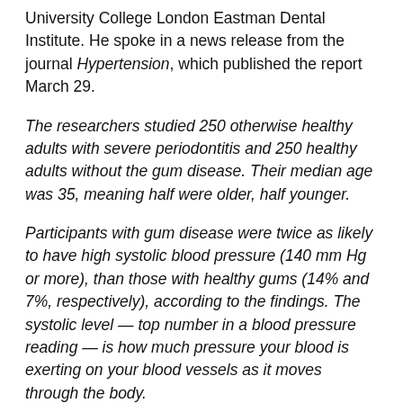University College London Eastman Dental Institute. He spoke in a news release from the journal Hypertension, which published the report March 29.
The researchers studied 250 otherwise healthy adults with severe periodontitis and 250 healthy adults without the gum disease. Their median age was 35, meaning half were older, half younger.
Participants with gum disease were twice as likely to have high systolic blood pressure (140 mm Hg or more), than those with healthy gums (14% and 7%, respectively), according to the findings. The systolic level — top number in a blood pressure reading — is how much pressure your blood is exerting on your blood vessels as it moves through the body.
While only an association and not a cause-and-effect link was established, the findings suggest that about 50% of